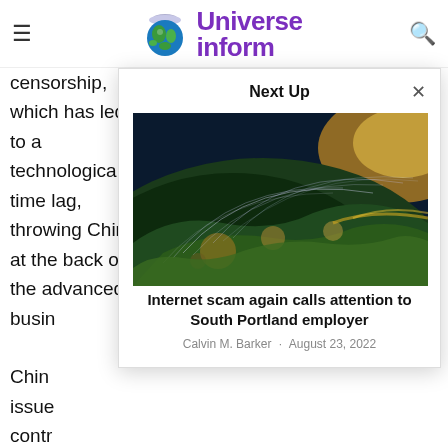Universe inform
censorship, which has led to a technological time lag, throwing China at the back of the advanced busin
Chin issue contr addit china digita reco inter meth
Next Up
[Figure (photo): Aerial view of Earth from space showing glowing network connections and city lights across continents with sunlight on horizon]
Internet scam again calls attention to South Portland employer
Calvin M. Barker · August 23, 2022